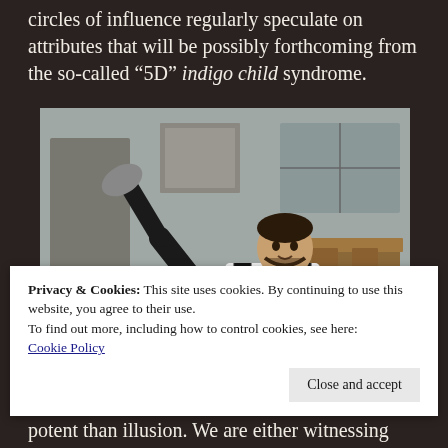circles of influence regularly speculate on attributes that will be possibly forthcoming from the so-called “5D” indigo child syndrome.
[Figure (photo): A man performing a breakdancing move on a concrete floor indoors, wearing black jeans and a black-and-white checkered shirt, balancing on one hand with legs raised.]
Privacy & Cookies: This site uses cookies. By continuing to use this website, you agree to their use.
To find out more, including how to control cookies, see here: Cookie Policy
potent than illusion. We are either witnessing